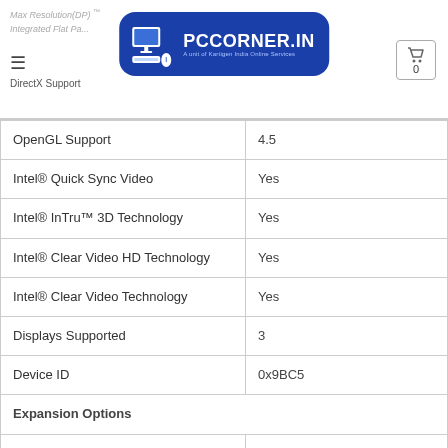PCCORNER.IN — A unit of Kartigen India Online Services
| OpenGL Support | 4.5 |
| Intel® Quick Sync Video | Yes |
| Intel® InTru™ 3D Technology | Yes |
| Intel® Clear Video HD Technology | Yes |
| Intel® Clear Video Technology | Yes |
| Displays Supported | 3 |
| Device ID | 0x9BC5 |
| Expansion Options |  |
| Scalability | 1S Only |